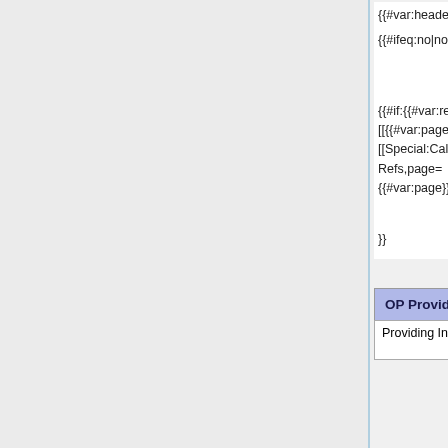{{#var:header}}|no||

{{#ifeq:no|no||

{{#if:{{#var:D
({{#var:DtArticleSort

{{#if:{{#var:refs}}|
[[{{#var:page}}|no_ref's]]|
[[Special:Call/DT Article show
Refs,page=
{{#var:page}},refs=yes|ref's]]}}}}

copy,c
{{#var:page}},namesp
[[Special:C
XML,ty
{{#var:page}},na

}}
|  | Exchange using claims Request with | Specific requested claims returned and no others, or | Fails |
| --- | --- | --- | --- |
| Providing Individually Requested |  |  |  |